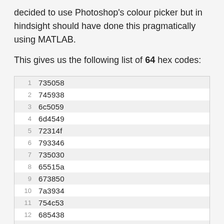decided to use Photoshop's colour picker but in hindsight should have done this pragmatically using MATLAB.
This gives us the following list of 64 hex codes:
| # | hex |
| --- | --- |
| 1 | 735058 |
| 2 | 745938 |
| 3 | 6c5059 |
| 4 | 6d4549 |
| 5 | 72314f |
| 6 | 793346 |
| 7 | 735030 |
| 8 | 65515a |
| 9 | 673850 |
| 10 | 7a3934 |
| 11 | 754c53 |
| 12 | 685438 |
| 13 | 654748 |
| 14 | 7a3056 |
| 15 | 615831 |
| 16 | 673039 |
| 17 | 6c4f7b |
| 18 | 744f44 |
| 19 | 6c4a31 |
| 20 | 674a66 |
| 21 | 784966 |
| 22 | 7a4969 |